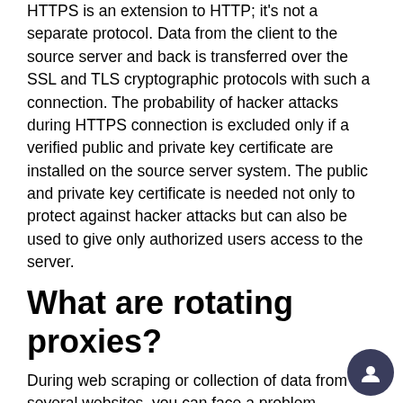HTTPS is an extension to HTTP; it's not a separate protocol. Data from the client to the source server and back is transferred over the SSL and TLS cryptographic protocols with such a connection. The probability of hacker attacks during HTTPS connection is excluded only if a verified public and private key certificate are installed on the source server system. The public and private key certificate is needed not only to protect against hacker attacks but can also be used to give only authorized users access to the server.
What are rotating proxies?
During web scraping or collection of data from several websites, you can face a problem because security systems can block your IP address. You can apply rotating proxies to prevent the blockage of your home IP address. Rotating proxies are the systems that create new IP addresses for you as often as you want. You can set a period or a number of requests after which you want the service to generate a new...